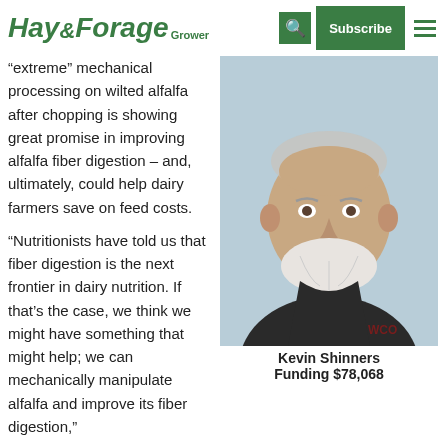Hay&Forage Grower | Subscribe
“extreme” mechanical processing on wilted alfalfa after chopping is showing great promise in improving alfalfa fiber digestion – and, ultimately, could help dairy farmers save on feed costs.
“Nutritionists have told us that fiber digestion is the next frontier in dairy nutrition. If that’s the case, we think we might have something that might help; we can mechanically manipulate alfalfa and improve its fiber digestion,”
[Figure (photo): Portrait photo of Kevin Shinners, a middle-aged man with a white beard wearing a dark shirt with a WCO logo.]
Kevin Shinners
Funding $78,068